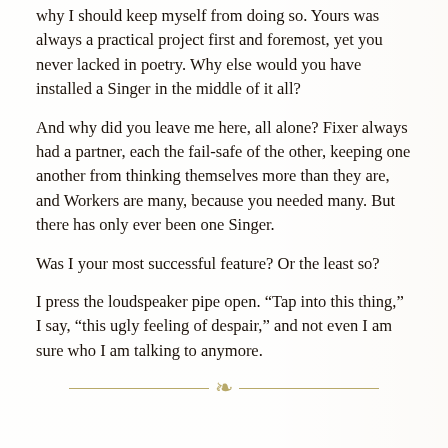why I should keep myself from doing so. Yours was always a practical project first and foremost, yet you never lacked in poetry. Why else would you have installed a Singer in the middle of it all?
And why did you leave me here, all alone? Fixer always had a partner, each the fail-safe of the other, keeping one another from thinking themselves more than they are, and Workers are many, because you needed many. But there has only ever been one Singer.
Was I your most successful feature? Or the least so?
I press the loudspeaker pipe open. “Tap into this thing,” I say, “this ugly feeling of despair,” and not even I am sure who I am talking to anymore.
[Figure (illustration): Decorative divider with a golden ornament/flourish in the center flanked by horizontal lines]